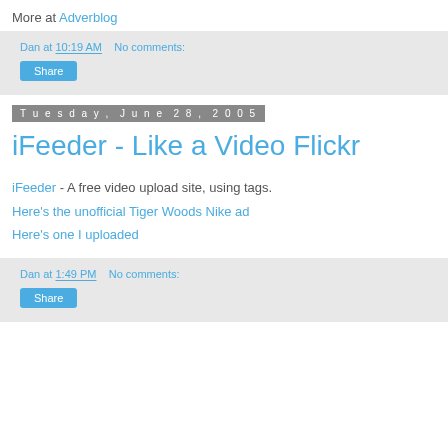More at Adverblog
Dan at 10:19 AM   No comments:
Share
Tuesday, June 28, 2005
iFeeder - Like a Video Flickr
iFeeder - A free video upload site, using tags.
Here's the unofficial Tiger Woods Nike ad
Here's one I uploaded
Dan at 1:49 PM   No comments:
Share